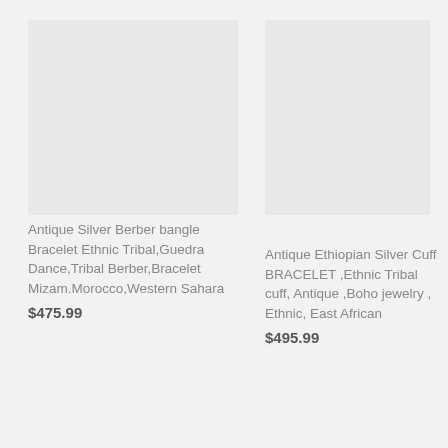[Figure (photo): Product image placeholder for Antique Silver Berber bangle Bracelet (left column, top area)]
Antique Silver Berber bangle Bracelet Ethnic Tribal,Guedra Dance,Tribal Berber,Bracelet Mizam.Morocco,Western Sahara
$475.99
[Figure (photo): Product image placeholder for Antique Ethiopian Silver Cuff BRACELET (right column, top area)]
Antique Ethiopian Silver Cuff BRACELET ,Ethnic Tribal cuff, Antique ,Boho jewelry , Ethnic, East African
$495.99